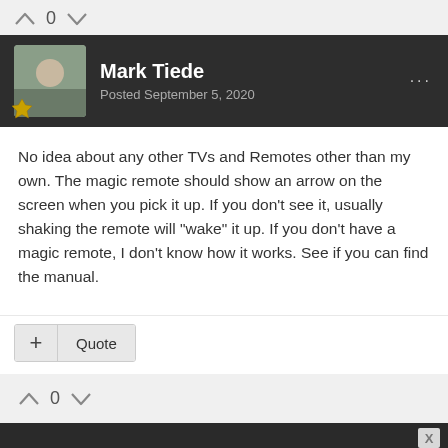0
Mark Tiede
Posted September 5, 2020
No idea about any other TVs and Remotes other than my own. The magic remote should show an arrow on the screen when you pick it up.  If you don't see it, usually shaking the remote will "wake" it up.  If you don't have a magic remote, I don't know how it works.  See if you can find the manual.
+ Quote
0
[Figure (illustration): Advertisement banner with geometric hexagonal pattern in gray tones]